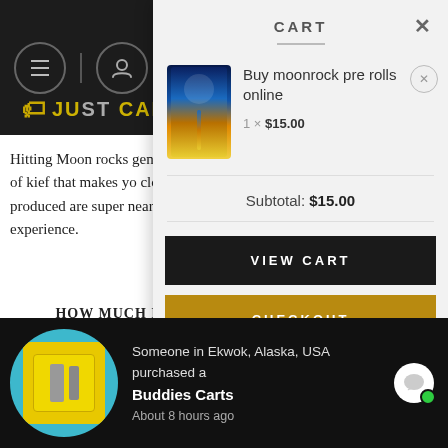[Figure (screenshot): Website header with dark background, hamburger menu icon and user profile icon circles]
[Figure (logo): Just Cannabis website logo with tag icon]
Hitting Moon rocks genera flavor of kief that makes yo clouds produced are super near its own experience.
HOW MUCH IS
Feel You will utterly relax b a heavy cock-locked and se fall into a peaceful and dee insanely top THC level, mo loss, insomnia, muscle spa
[Figure (screenshot): Shopping cart panel overlay showing cart header with X close button, product image of moonrock pre rolls, item title 'Buy moonrock pre rolls online', quantity 1 x $15.00, subtotal $15.00, VIEW CART button in black, CHECKOUT button in gold/amber]
[Figure (screenshot): Notification popup at bottom showing product image on teal circle background (Buddies Carts yellow box with vape cartridge), text: Someone in Ekwok, Alaska, USA purchased a Buddies Carts About 8 hours ago, with chat bubble icon and green dot]